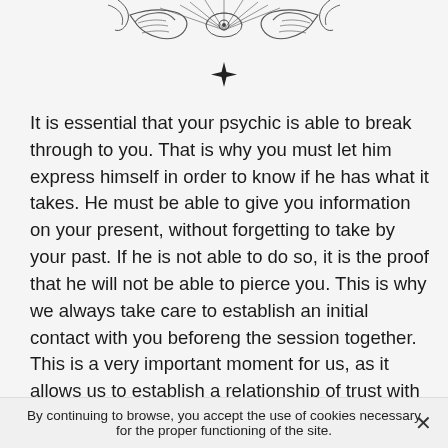[Figure (illustration): Decorative illustration of hands with rays and a four-pointed star below, line art style]
It is essential that your psychic is able to break through to you. That is why you must let him express himself in order to know if he has what it takes. He must be able to give you information on your present, without forgetting to take by your past. If he is not able to do so, it is the proof that he will not be able to pierce you. This is why we always take care to establish an initial contact with you beforeng the session together. This is a very important moment for us, as it allows us to establish a relationship of trust with you, in order to make you feel even more comfortable.
One of the things you can also do to know if the clairvoyant will please you is to ask about his or her
By continuing to browse, you accept the use of cookies necessary for the proper functioning of the site.